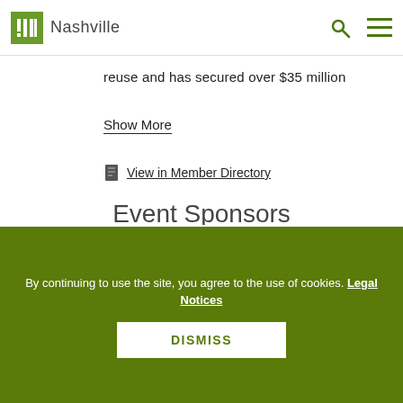ULI Nashville
reuse and has secured over $35 million
Show More
View in Member Directory
Event Sponsors
By continuing to use the site, you agree to the use of cookies. Legal Notices
DISMISS